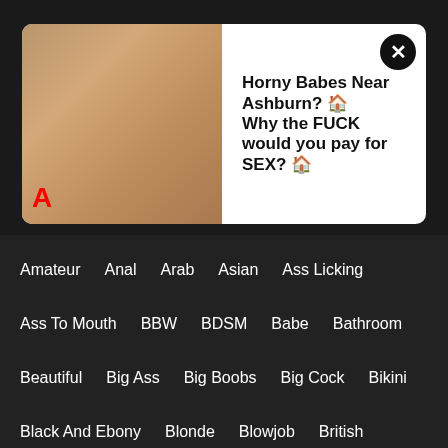[Figure (photo): Adult advertisement overlay with photo of young blonde woman and text: Horny Babes Near Ashburn? Why the FUCK would you pay for SEX?]
Amateur  Anal  Arab  Asian  Ass Licking
Ass To Mouth  BBW  BDSM  Babe  Bathroom
Beautiful  Big Ass  Big Boobs  Big Cock  Bikini
Black And Ebony  Blonde  Blowjob  British
Brunette  Brutal  Bus  CFNM  Car Sex  Casting
Caught  Celebrities Sex  Cheating  Chubby  Clit
Close-Up  Compilation  Couple  Creampie
Cuckold  Cumshot  Czech  Daddy  Daughter